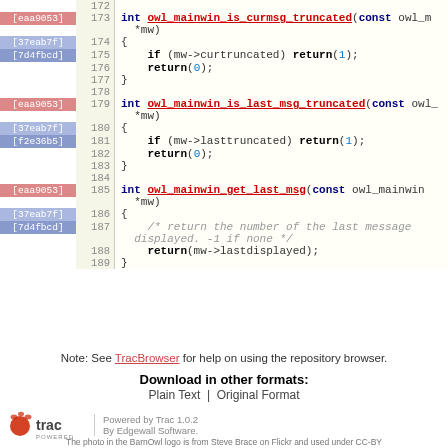[Figure (screenshot): Code diff/blame view showing C source code lines 172-189 with blame annotations ([eaa9053], [37eab7f], [7d4fbcd], [f2e36b5]) in colored sidebar. Functions: owl_mainwin_is_curmsg_truncated, owl_mainwin_is_last_msg_truncated, owl_mainwin_get_last_msg.]
View changes...
Note: See TracBrowser for help on using the repository browser.
Download in other formats:
Plain Text | Original Format
Powered by Trac 1.0.2 By Edgewall Software. The photo in the BarnOwl logo is from Steve Brace on Flickr and used under CC-BY